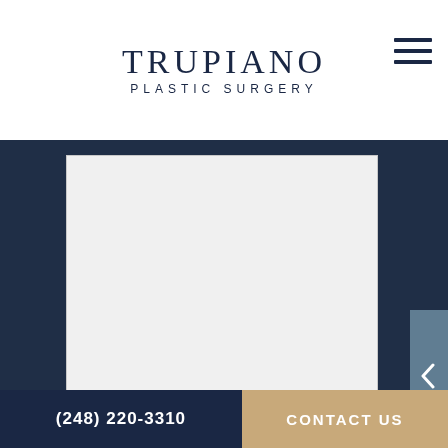TRUPIANO PLASTIC SURGERY
[Figure (screenshot): White textarea/form input box with resize handle at bottom right corner, on a dark navy blue blurred background]
SUBMIT
[Figure (illustration): Blue circular accessibility icon with person figure inside]
TRUPIANO
(248) 220-3310  CONTACT US